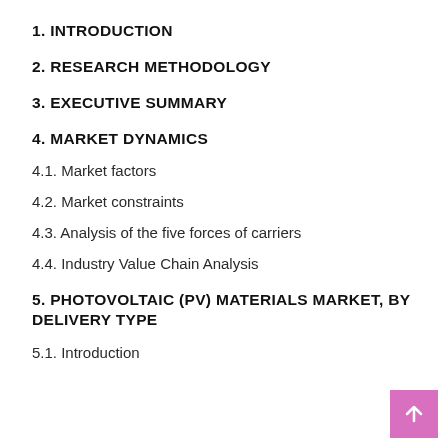1. INTRODUCTION
2. RESEARCH METHODOLOGY
3. EXECUTIVE SUMMARY
4. MARKET DYNAMICS
4.1. Market factors
4.2. Market constraints
4.3. Analysis of the five forces of carriers
4.4. Industry Value Chain Analysis
5. PHOTOVOLTAIC (PV) MATERIALS MARKET, BY DELIVERY TYPE
5.1. Introduction